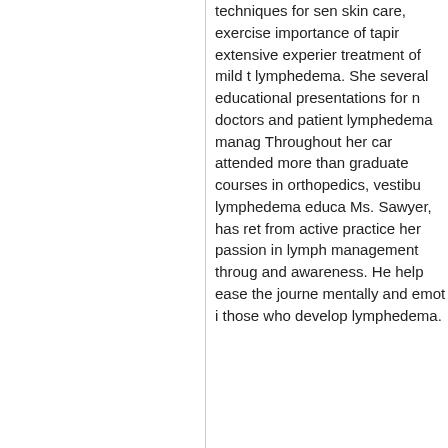techniques for sen skin care, exercise importance of tapir extensive experier treatment of mild t lymphedema. She several educationa presentations for r doctors and patien lymphedema mana Throughout her ca attended more tha graduate courses i orthopedics, vestib lymphedema educ Ms. Sawyer, has re from active practic her passion in lymp management throu and awareness. H help ease the journ mentally and emot those who develop lymphedema.